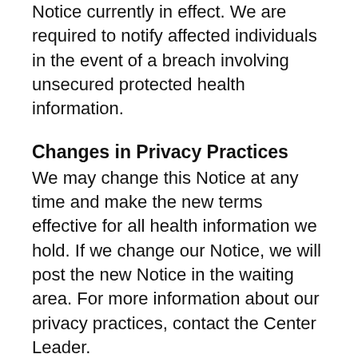Notice currently in effect. We are required to notify affected individuals in the event of a breach involving unsecured protected health information.
Changes in Privacy Practices
We may change this Notice at any time and make the new terms effective for all health information we hold. If we change our Notice, we will post the new Notice in the waiting area. For more information about our privacy practices, contact the Center Leader.
Complaints
If you are concerned that we have violated your privacy rights, you may contact the Center Leader. You also may send a written complaint to the U.S. Department of Health